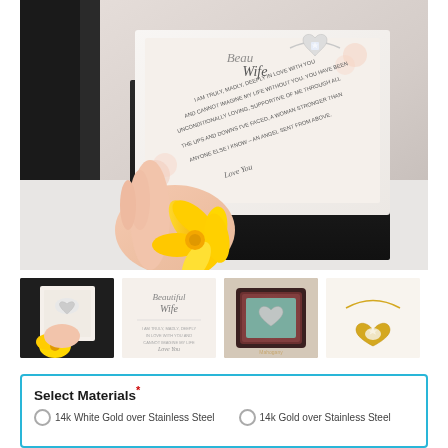[Figure (photo): Main product photo showing a hand holding open a gift box containing a heart-shaped crystal necklace on a white card that reads 'Beautiful Wife' with a love message, accompanied by a yellow flower in the foreground]
[Figure (photo): Thumbnail 1: Close-up of necklace box with yellow flower]
[Figure (photo): Thumbnail 2: Card with 'Beautiful Wife' script text]
[Figure (photo): Thumbnail 3: Necklace in pink/rose LED jewelry box]
[Figure (photo): Thumbnail 4: Gold heart necklace on white background]
Select Materials*
14k White Gold over Stainless Steel    14k Gold over Stainless Steel